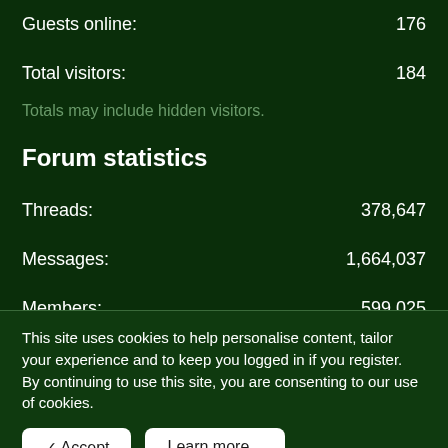Guests online: 176
Total visitors: 184
Totals may include hidden visitors.
Forum statistics
Threads: 378,647
Messages: 1,664,037
Members: 599,025
This site uses cookies to help personalise content, tailor your experience and to keep you logged in if you register.
By continuing to use this site, you are consenting to our use of cookies.
✓ Accept
Learn more...